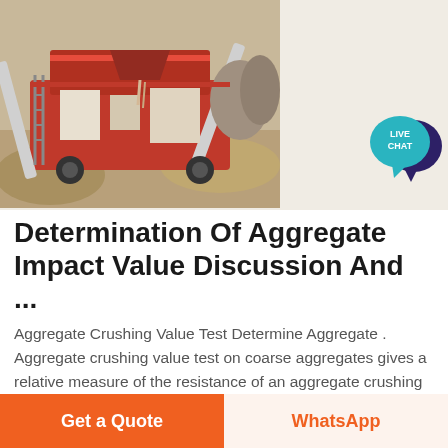[Figure (photo): Red and grey industrial aggregate crushing / screening machinery outdoors with sand/gravel piles in background]
[Figure (illustration): Live Chat speech bubble icon — teal bubble with dark navy chat bubble, text LIVE CHAT]
Determination Of Aggregate Impact Value Discussion And ...
Aggregate Crushing Value Test Determine Aggregate . Aggregate crushing value test on coarse aggregates gives a relative measure of the resistance of an aggregate crushing under gradually applied compressive load Coarse aggregate crushing value is the percentage by weight of the
Get a Quote   WhatsApp